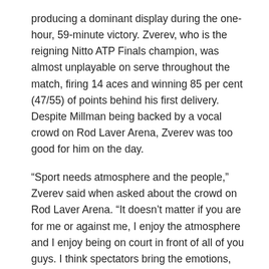producing a dominant display during the one-hour, 59-minute victory. Zverev, who is the reigning Nitto ATP Finals champion, was almost unplayable on serve throughout the match, firing 14 aces and winning 85 per cent (47/55) of points behind his first delivery. Despite Millman being backed by a vocal crowd on Rod Laver Arena, Zverev was too good for him on the day.
“Sport needs atmosphere and the people,” Zverev said when asked about the crowd on Rod Laver Arena. “It doesn’t matter if you are for me or against me, I enjoy the atmosphere and I enjoy being on court in front of all of you guys. I think spectators bring the emotions, and sport without spectators is like sport without emotions, so I think it is incredible to play in front of everybody.”